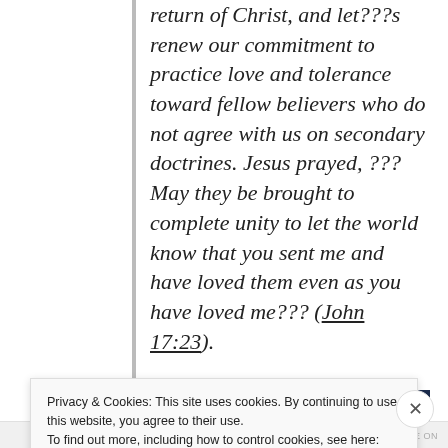return of Christ, and let???s renew our commitment to practice love and tolerance toward fellow believers who do not agree with us on secondary doctrines. Jesus prayed, ???May they be brought to complete unity to let the world know that you sent me and have loved them even as you have loved me??? (John 17:23).
[Figure (photo): Partial image showing hands (left side, warm brown tones) and a dark navy blue panel with a 'LEARN MORE' button on the right side.]
Privacy & Cookies: This site uses cookies. By continuing to use this website, you agree to their use. To find out more, including how to control cookies, see here: Cookie Policy
Close and accept